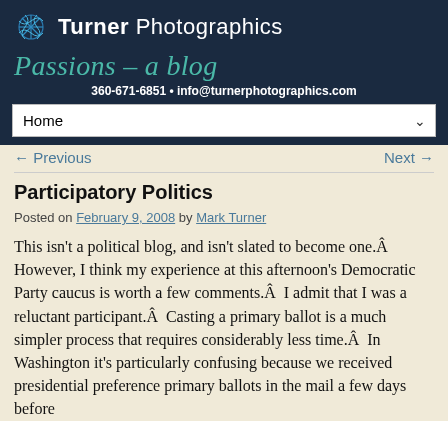Turner Photographics — Passions – a blog — 360-671-6851 • info@turnerphotographics.com
Participatory Politics
Posted on February 9, 2008 by Mark Turner
This isn't a political blog, and isn't slated to become one.Â  However, I think my experience at this afternoon's Democratic Party caucus is worth a few comments.Â  I admit that I was a reluctant participant.Â  Casting a primary ballot is a much simpler process that requires considerably less time.Â  In Washington it's particularly confusing because we received presidential preference primary ballots in the mail a few days before